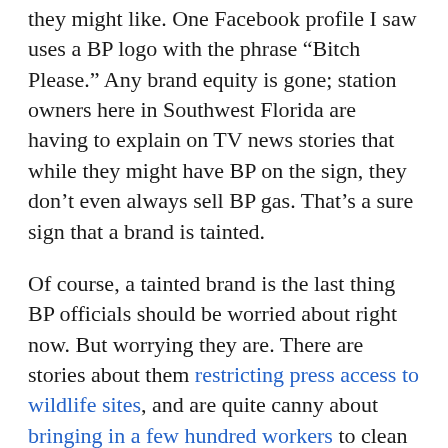they might like. One Facebook profile I saw uses a BP logo with the phrase “Bitch Please.” Any brand equity is gone; station owners here in Southwest Florida are having to explain on TV news stories that while they might have BP on the sign, they don’t even always sell BP gas. That’s a sure sign that a brand is tainted.
Of course, a tainted brand is the last thing BP officials should be worried about right now. But worrying they are. There are stories about them restricting press access to wildlife sites, and are quite canny about bringing in a few hundred workers to clean beaches when the President comes around. They are throwing full-page ad money around the Gulf’s weekly newspapers at a